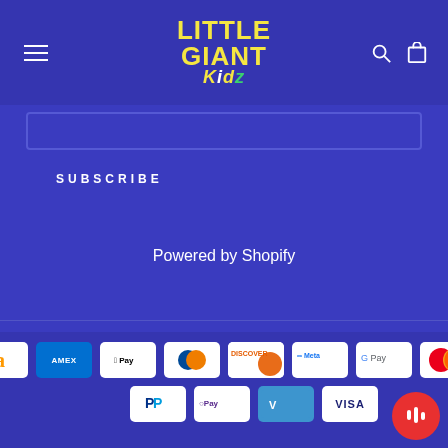[Figure (logo): Little Giant Kidz logo in yellow bold text with colorful Kidz lettering on blue background]
SUBSCRIBE
Powered by Shopify
[Figure (infographic): Payment method icons: Amazon, Amex, Apple Pay, Diners Club, Discover, Meta Pay, Google Pay, Mastercard, PayPal, OPay, Venmo, Visa]